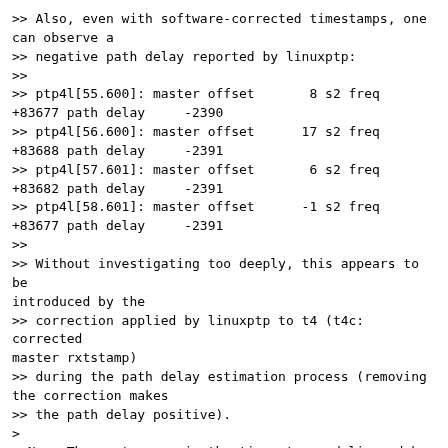>> Also, even with software-corrected timestamps, one can observe a
>> negative path delay reported by linuxptp:
>>
>> ptp4l[55.600]: master offset       8 s2 freq +83677 path delay     -2390
>> ptp4l[56.600]: master offset      17 s2 freq +83688 path delay     -2391
>> ptp4l[57.601]: master offset       6 s2 freq +83682 path delay     -2391
>> ptp4l[58.601]: master offset      -1 s2 freq +83677 path delay     -2391
>>
>> Without investigating too deeply, this appears to be introduced by the
>> correction applied by linuxptp to t4 (t4c: corrected master rxtstamp)
>> during the path delay estimation process (removing the correction makes
>> the path delay positive).
>
> No.  The root cause is the time stamps delivered by the hardware or
> your driver.  That needs to be addressed before going forward.
>
How can I check that the timestamps are valid?
Regards